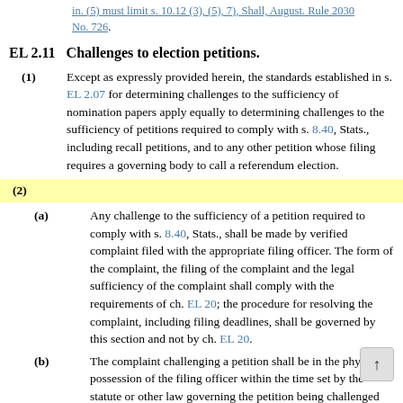in. (5) must limit s. 10.12 (3), (5), 7), Shall, August. Rule 2030 No. 726.
EL 2.11   Challenges to election petitions.
(1) Except as expressly provided herein, the standards established in s. EL 2.07 for determining challenges to the sufficiency of nomination papers apply equally to determining challenges to the sufficiency of petitions required to comply with s. 8.40, Stats., including recall petitions, and to any other petition whose filing requires a governing body to call a referendum election.
(2)
(a) Any challenge to the sufficiency of a petition required to comply with s. 8.40, Stats., shall be made by verified complaint filed with the appropriate filing officer. The form of the complaint, the filing of the complaint and the legal sufficiency of the complaint shall comply with the requirements of ch. EL 20; the procedure for resolving the complaint, including filing deadlines, shall be governed by this section and not by ch. EL 20.
(b) The complaint challenging a petition shall be in the physical possession of the filing officer within the time set by the statute or other law governing the petition being challenged or, if no time limit is specifically provided by statute or other law, within 10 days after the day that the petition is filed.